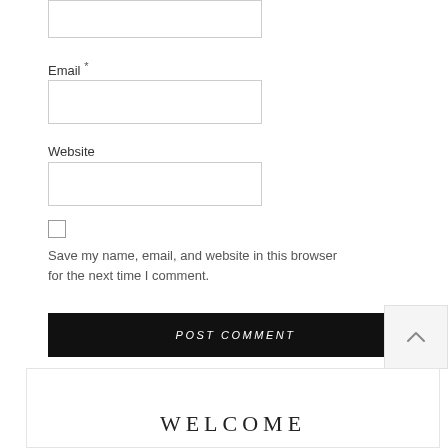Email *
Website
Save my name, email, and website in this browser for the next time I comment.
POST COMMENT
WELCOME